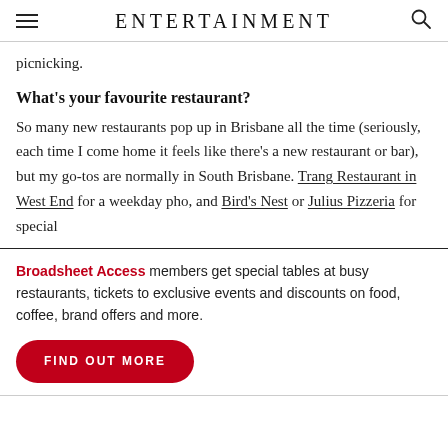ENTERTAINMENT
picnicking.
What's your favourite restaurant?
So many new restaurants pop up in Brisbane all the time (seriously, each time I come home it feels like there's a new restaurant or bar), but my go-tos are normally in South Brisbane. Trang Restaurant in West End for a weekday pho, and Bird's Nest or Julius Pizzeria for special
Broadsheet Access members get special tables at busy restaurants, tickets to exclusive events and discounts on food, coffee, brand offers and more.
FIND OUT MORE